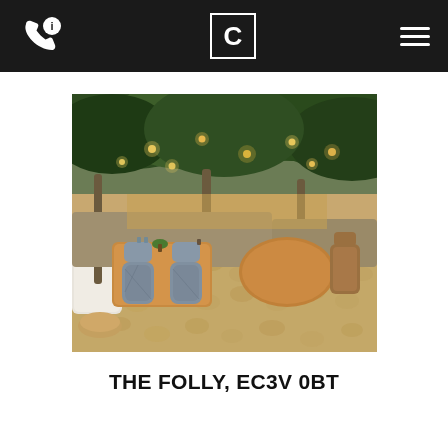C
[Figure (photo): Interior of The Folly restaurant showing wooden dining tables and chairs with patterned fabric upholstery, tall indoor trees with lush green foliage overhead adorned with string lights, creating a garden-like ambiance with natural stone flooring.]
THE FOLLY, EC3V 0BT